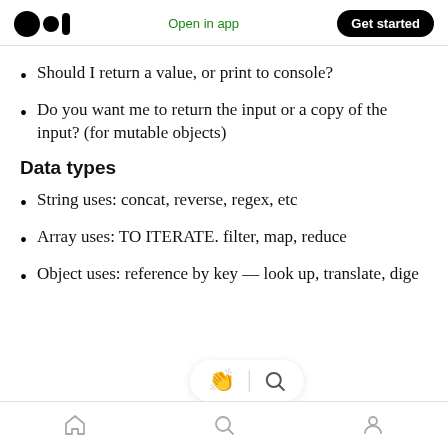Medium logo | Open in app | Get started
Should I return a value, or print to console?
Do you want me to return the input or a copy of the input? (for mutable objects)
Data types
String uses: concat, reverse, regex, etc
Array uses: TO ITERATE. filter, map, reduce
Object uses: reference by key — look up, translate, dige
[Figure (other): Bottom overlay UI element with clapping emoji, divider, and search icon]
Navigation bar with home, search, and profile icons